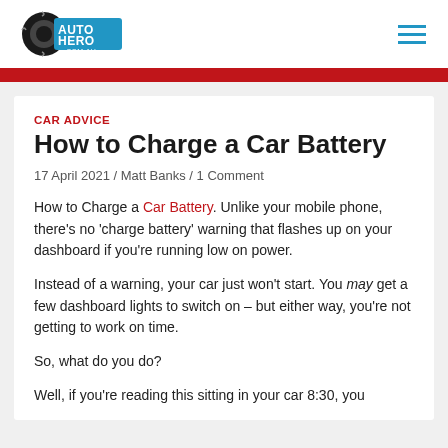Auto Hero .com.au
CAR ADVICE
How to Charge a Car Battery
17 April 2021 / Matt Banks / 1 Comment
How to Charge a Car Battery. Unlike your mobile phone, there’s no ‘charge battery’ warning that flashes up on your dashboard if you’re running low on power.
Instead of a warning, your car just won’t start. You may get a few dashboard lights to switch on – but either way, you’re not getting to work on time.
So, what do you do?
Well, if you’re reading this sitting in your car 8:30, you